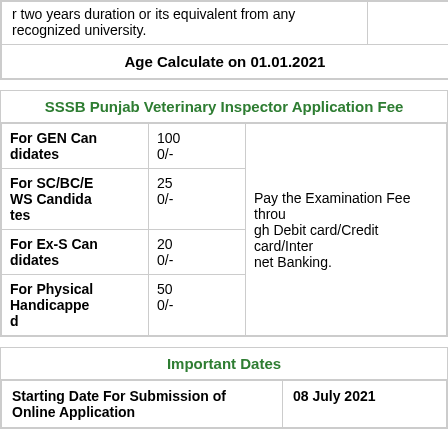| two years duration or its equivalent from any recognized university. |  |
| Age Calculate on 01.01.2021 |  |
| SSSB Punjab Veterinary Inspector Application Fee |
| --- |
| For GEN Candidates | 1000/- | Pay the Examination Fee through Debit card/Credit card/Internet Banking. |
| For SC/BC/EWS Candidates | 250/- |  |
| For Ex-S Candidates | 200/- |  |
| For Physical Handicapped | 500/- |  |
| Important Dates |
| --- |
| Starting Date For Submission of Online Application | 08 July 2021 |